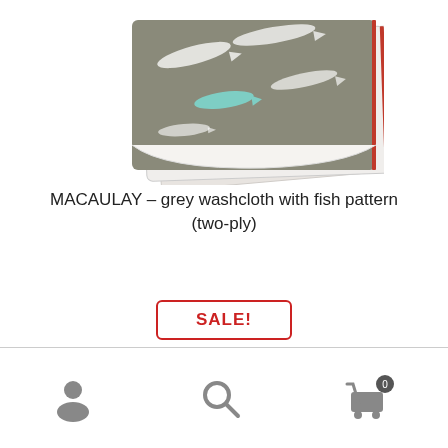[Figure (photo): Grey washcloth with fish pattern folded, showing fish and whale prints on grey fabric with white underside and red trim edge.]
MACAULAY – grey washcloth with fish pattern (two-ply)
SALE!
Add to cart